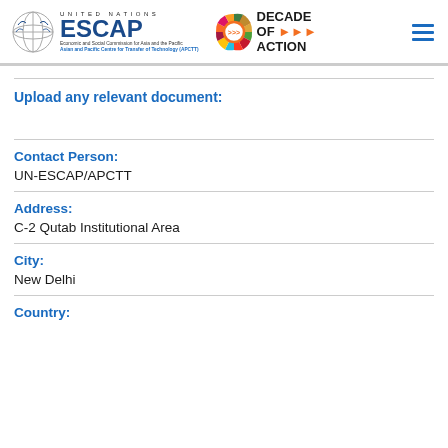UNITED NATIONS ESCAP — Economic and Social Commission for Asia and the Pacific, Asian and Pacific Centre for Transfer of Technology (APCTT) | Decade of Action
Upload any relevant document:
Contact Person:
UN-ESCAP/APCTT
Address:
C-2 Qutab Institutional Area
City:
New Delhi
Country: